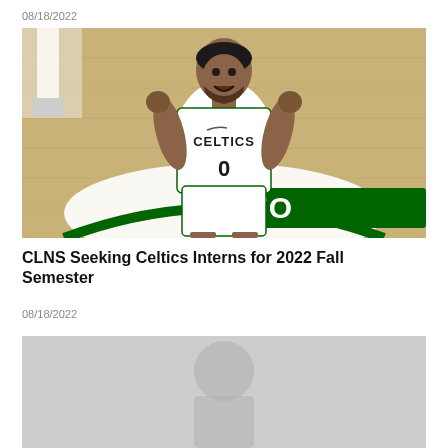08/18/2022
[Figure (photo): Basketball player wearing Boston Celtics #0 jersey celebrating on court, fist pumping, with green Celtics logo on court floor visible in background]
CLNS Seeking Celtics Interns for 2022 Fall Semester
08/18/2022
[Figure (photo): Partially visible image of basketball-related content, appears grayscale/faded]